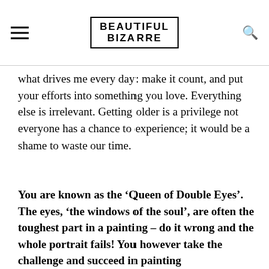BEAUTIFUL BIZARRE
what drives me every day: make it count, and put your efforts into something you love. Everything else is irrelevant. Getting older is a privilege not everyone has a chance to experience; it would be a shame to waste our time.
You are known as the ‘Queen of Double Eyes’. The eyes, ‘the windows of the soul’, are often the toughest part in a painting – do it wrong and the whole portrait fails! You however take the challenge and succeed in painting